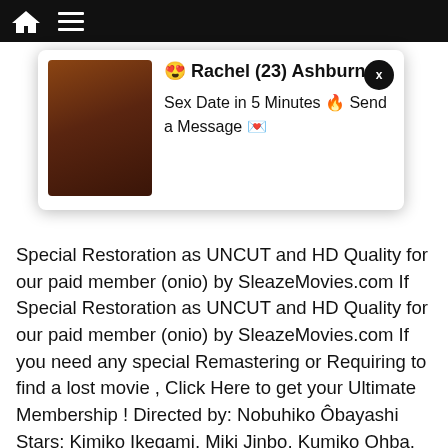[Figure (screenshot): Pop-up advertisement overlay showing a profile photo thumbnail on the left. Text reads: 😍 Rachel (23) Ashburn 🍌 Sex Date in 5 Minutes 🔥 Send a Message 💌. Close button (x) in top right corner.]
Special Restoration as UNCUT and HD Quality for our paid member (onio) by SleazeMovies.com If you need any special Remastering or Requiring to find a lost movie , Click Here to get your Ultimate Membership ! Directed by: Nobuhiko Ôbayashi Stars: Kimiko Ikegami, Miki Jinbo, Kumiko Ohba, Ai Matsubara, Mieko […]
[Figure (infographic): Social sharing icon bar with 6 icons: Facebook (blue), Twitter (light blue), Pinterest (red), Reddit (orange-red), Tumblr (dark blue-grey), Share/plus (blue)]
Grindhouse & Cult